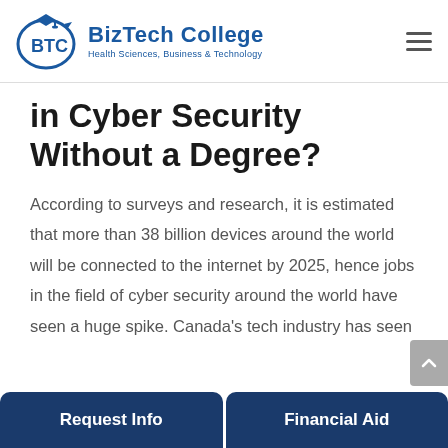BizTech College — Health Sciences, Business & Technology
in Cyber Security Without a Degree?
According to surveys and research, it is estimated that more than 38 billion devices around the world will be connected to the internet by 2025, hence jobs in the field of cyber security around the world have seen a huge spike. Canada's tech industry has seen
Request Info | Financial Aid